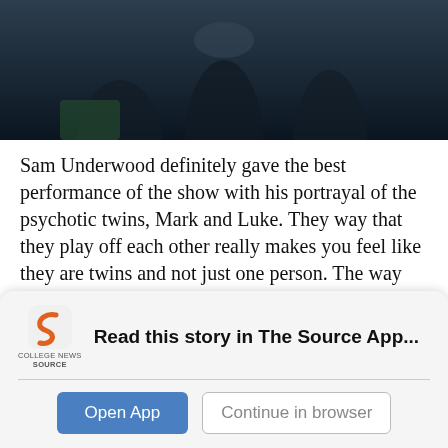[Figure (photo): Dark photo of people, partially visible, dark tones]
Sam Underwood definitely gave the best performance of the show with his portrayal of the psychotic twins, Mark and Luke. They way that they play off each other really makes you feel like they are twins and not just one person. The way that Luke acts is pure psycho, licking the blood from Claire’s neck and Mark, is more mentally psychotic, getting bursts of madness where he loses himself.
Read this story in The Source App...
Open App
Continue in browser